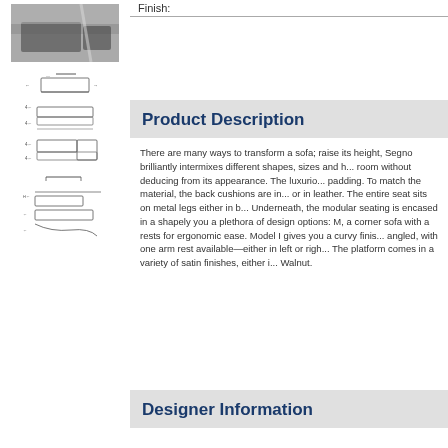Finish:
[Figure (photo): Interior living room photo showing a sofa in a modern room with large windows]
[Figure (schematic): Technical line drawings/schematics of sofa models shown in multiple views]
Product Description
There are many ways to transform a sofa; raise its height, Segno brilliantly intermixes different shapes, sizes and h... room without deducing from its appearance. The luxurio... padding. To match the material, the back cushions are in... or in leather. The entire seat sits on metal legs either in b... Underneath, the modular seating is encased in a shapely you a plethora of design options: M, a corner sofa with a rests for ergonomic ease. Model I gives you a curvy finis... angled, with one arm rest available—either in left or rig... The platform comes in a variety of satin finishes, either i... Walnut.
Designer Information